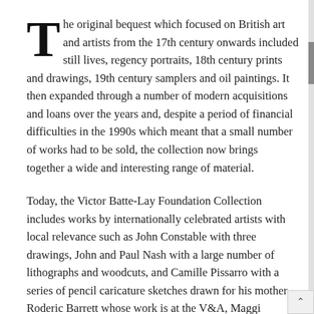The original bequest which focused on British art and artists from the 17th century onwards included still lives, regency portraits, 18th century prints and drawings, 19th century samplers and oil paintings. It then expanded through a number of modern acquisitions and loans over the years and, despite a period of financial difficulties in the 1990s which meant that a small number of works had to be sold, the collection now brings together a wide and interesting range of material.
Today, the Victor Batte-Lay Foundation Collection includes works by internationally celebrated artists with local relevance such as John Constable with three drawings, John and Paul Nash with a large number of lithographs and woodcuts, and Camille Pissarro with a series of pencil caricature sketches drawn for his mother. Roderic Barrett whose work is at the V&A, Maggi Hambling RA with a painting from The Max Wall series and Humphrey Spender with a